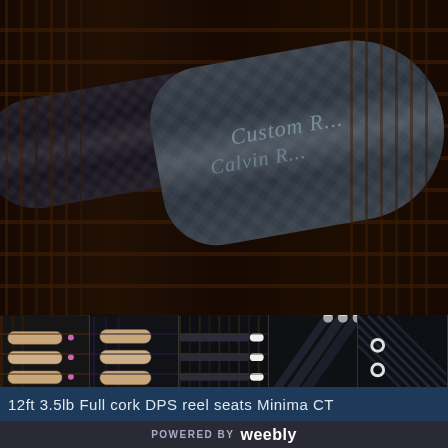[Figure (photo): Close-up photo of a custom fishing rod with carbon fiber and blue-grey EVA foam grip, showing script text 'Custom R...' and 'Calvin R...' on the grip, with a red accent stripe. Background shows dark wooden rod holders.]
[Figure (photo): Strip of five thumbnail photos showing close-up details of fishing rod components: cork rings with pink accents, EVA grip sections, rod tips, and multiple rods displayed together.]
12ft 3.5lb Full cork  DPS reel seats  Minima CT
POWERED BY  weebly